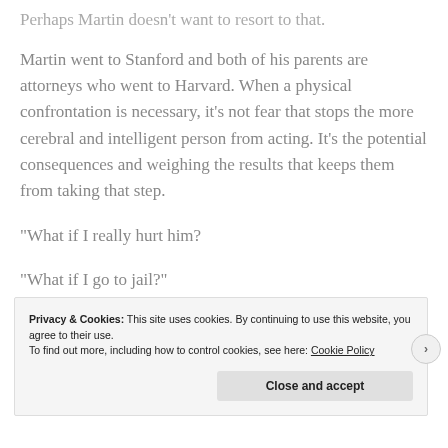Perhaps Martin doesn't want to resort to that.
Martin went to Stanford and both of his parents are attorneys who went to Harvard. When a physical confrontation is necessary, it’s not fear that stops the more cerebral and intelligent person from acting. It’s the potential consequences and weighing the results that keeps them from taking that step.
“What if I really hurt him?
“What if I go to jail?”
Privacy & Cookies: This site uses cookies. By continuing to use this website, you agree to their use.
To find out more, including how to control cookies, see here: Cookie Policy
Close and accept